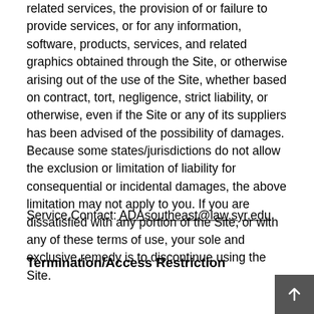related services, the provision of or failure to provide services, or for any information, software, products, services, and related graphics obtained through the Site, or otherwise arising out of the use of the Site, whether based on contract, tort, negligence, strict liability, or otherwise, even if the Site or any of its suppliers has been advised of the possibility of damages. Because some states/jurisdictions do not allow the exclusion or limitation of liability for consequential or incidental damages, the above limitation may not apply to you. If you are dissatisfied with any portion of the Site, or with any of these terms of use, your sole and exclusive remedy is to discontinue using the Site.
Service Contact: ADAsoutheast@law.syr.edu
Termination/Access Restriction